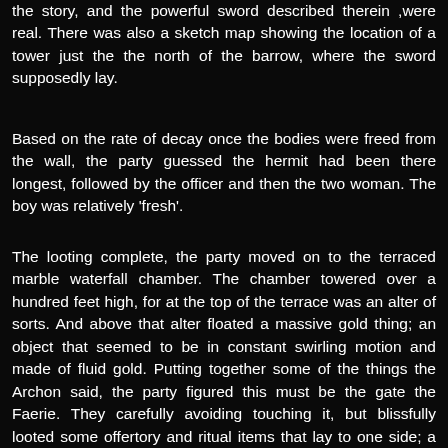the story, and the powerful sword described therein ,were real. There was also a sketch map showing the location of a tower just the the north of the barrow, where the sword supposedly lay.
Based on the rate of decay once the bodies were freed from the wall, the party guessed the hermit had been there longest, followed by the officer and then the two woman. The boy was relatively 'fresh'.
The looting complete, the party moved on to the terraced marble waterfall chamber. The chamber towered over a hundred feet high, for at the top of the terrace was an alter of sorts. And above that alter floated a massive gold thing; an object that seemed to be in constant swirling motion and made of fluid gold. Putting together some of the things the Archon said, the party figured this must be the gate the Faerie. They carefully avoiding touching it, but blissfully looted some offertory and ritual items that lay to one side; a paint, gold chalice, garland of crystallized flowers, silver bowl, brass jug and ultramarine cluster broach. They also carefully searched behind and around the gold gate, looking